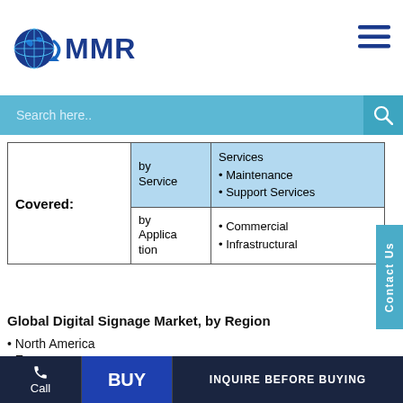MMR
| Covered: | by Service / by Application | Values |
| --- | --- | --- |
| Covered: | by Service | Services
• Maintenance
• Support Services |
|  | by Application | • Commercial
• Infrastructural |
Global Digital Signage Market, by Region
North America
Europe
Asia Pacific
Middle East and Africa
Call | BUY | INQUIRE BEFORE BUYING